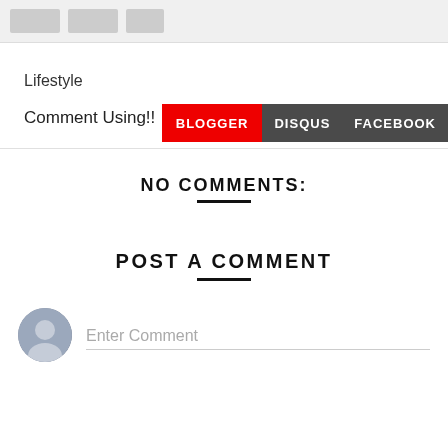[Figure (screenshot): Top navigation bar with gray placeholder icons]
Lifestyle
Comment Using!!
NO COMMENTS:
POST A COMMENT
[Figure (illustration): User avatar circle icon next to Enter Comment input field]